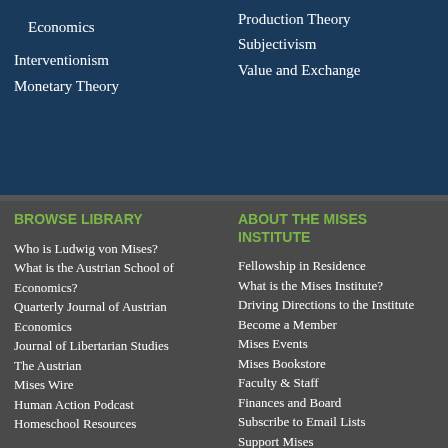Economics
Interventionism
Monetary Theory
Production Theory
Subjectivism
Value and Exchange
BROWSE LIBRARY
Who is Ludwig von Mises?
What is the Austrian School of Economics?
Quarterly Journal of Austrian Economics
Journal of Libertarian Studies
The Austrian
Mises Wire
Human Action Podcast
Homeschool Resources
ABOUT THE MISES INSTITUTE
Fellowship in Residence
What is the Mises Institute?
Driving Directions to the Institute
Become a Member
Mises Events
Mises Bookstore
Faculty & Staff
Finances and Board
Subscribe to Email Lists
Support Mises
Privacy Statement